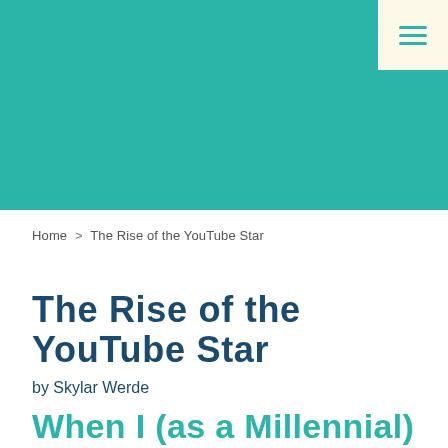[Figure (other): Teal/turquoise decorative header banner background filling the top portion of the page]
[Figure (other): Hamburger menu icon (three horizontal lines) in a cream/off-white square box in the top right corner]
Home > The Rise of the YouTube Star
The Rise of the YouTube Star
by Skylar Werde
When I (as a Millennial) look